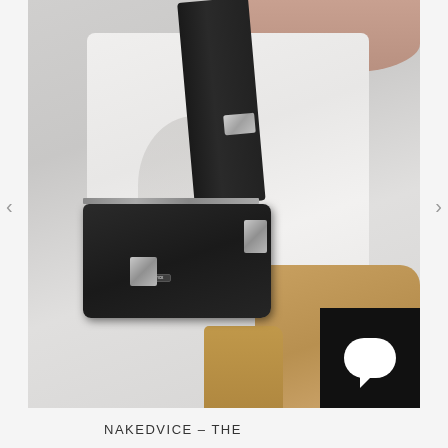[Figure (photo): A person wearing a white button-up shirt and tan/caramel pants, holding a small black nylon shoulder bag by NAKEDVICE. The bag has silver hardware including chain details and a brand logo plate. A chat widget icon appears in the bottom-right corner of the image.]
NAKEDVICE - THE